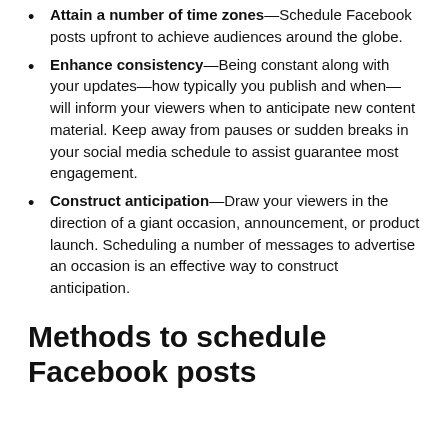Attain a number of time zones—Schedule Facebook posts upfront to achieve audiences around the globe.
Enhance consistency—Being constant along with your updates—how typically you publish and when—will inform your viewers when to anticipate new content material. Keep away from pauses or sudden breaks in your social media schedule to assist guarantee most engagement.
Construct anticipation—Draw your viewers in the direction of a giant occasion, announcement, or product launch. Scheduling a number of messages to advertise an occasion is an effective way to construct anticipation.
Methods to schedule Facebook posts